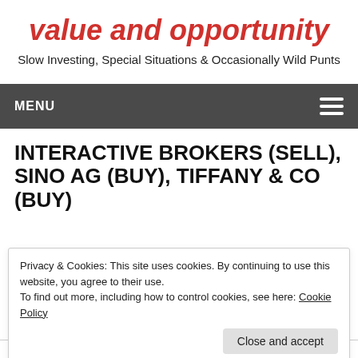value and opportunity
Slow Investing, Special Situations & Occasionally Wild Punts
MENU
INTERACTIVE BROKERS (SELL), SINO AG (BUY), TIFFANY & CO (BUY)
Privacy & Cookies: This site uses cookies. By continuing to use this website, you agree to their use.
To find out more, including how to control cookies, see here: Cookie Policy
Close and accept